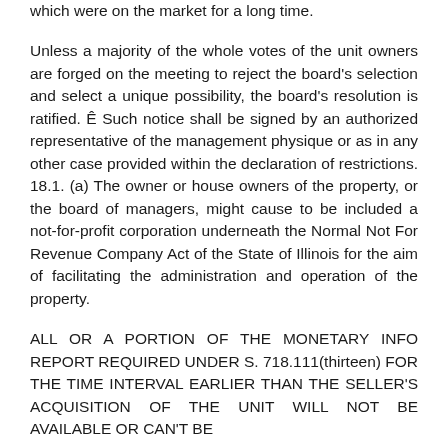which were on the market for a long time.
Unless a majority of the whole votes of the unit owners are forged on the meeting to reject the board's selection and select a unique possibility, the board's resolution is ratified. Ê Such notice shall be signed by an authorized representative of the management physique or as in any other case provided within the declaration of restrictions. 18.1. (a) The owner or house owners of the property, or the board of managers, might cause to be included a not-for-profit corporation underneath the Normal Not For Revenue Company Act of the State of Illinois for the aim of facilitating the administration and operation of the property.
ALL OR A PORTION OF THE MONETARY INFO REPORT REQUIRED UNDER S. 718.111(thirteen) FOR THE TIME INTERVAL EARLIER THAN THE SELLER'S ACQUISITION OF THE UNIT WILL NOT BE AVAILABLE OR CAN'T BE